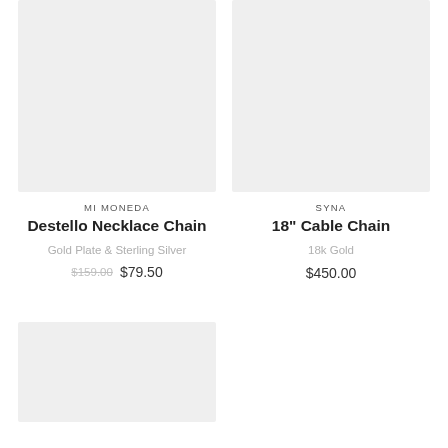[Figure (photo): Product image placeholder for Destello Necklace Chain - light gray background]
[Figure (photo): Product image placeholder for 18in Cable Chain - light gray background]
MI MONEDA
Destello Necklace Chain
Gold Plate & Sterling Silver
$159.00  $79.50
SYNA
18" Cable Chain
18k Gold
$450.00
[Figure (photo): Product image placeholder - bottom left - light gray background]